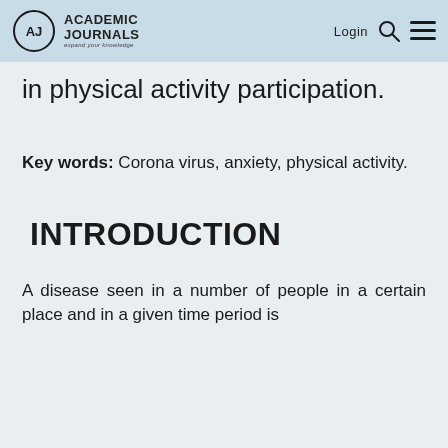Academic Journals — expand your knowledge | Login
in physical activity participation.
Key words: Corona virus, anxiety, physical activity.
INTRODUCTION
A disease seen in a number of people in a certain place and in a given time period is